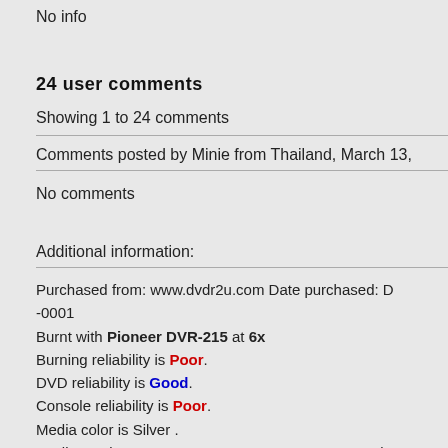No info
24 user comments
Showing 1 to 24 comments
Comments posted by Minie from Thailand, March 13,
No comments
Additional information:
Purchased from: www.dvdr2u.com Date purchased: D -0001
Burnt with Pioneer DVR-215 at 6x
Burning reliability is Poor.
DVD reliability is Good.
Console reliability is Poor.
Media color is Silver .
Media text is Memorex DVD+R DL 8X 8.5GB 240 min
Media package type is Cake Box. Number of discs 10